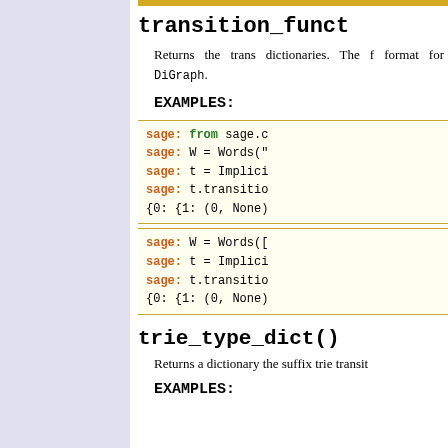transition_funct
Returns the trans dictionaries. The f format for DiGraph.
EXAMPLES:
[Figure (screenshot): Code block 1: sage: from sage.c... sage: W = Words(" sage: t = Implici sage: t.transitio {0: {1: (0, None)]
[Figure (screenshot): Code block 2: sage: W = Words([ sage: t = Implici sage: t.transitio {0: {1: (0, None)]
trie_type_dict()
Returns a dictionary the suffix trie transit
EXAMPLES: